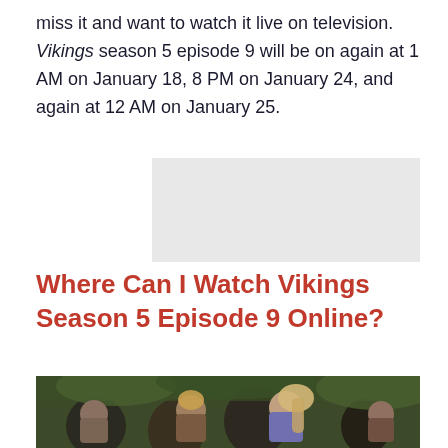miss it and want to watch it live on television. Vikings season 5 episode 9 will be on again at 1 AM on January 18, 8 PM on January 24, and again at 12 AM on January 25.
[Figure (other): Advertisement placeholder (grey box)]
Where Can I Watch Vikings Season 5 Episode 9 Online?
[Figure (photo): Photo of Vikings TV show cast members in medieval costumes, standing in a forest setting. Multiple characters including warriors and a blonde woman in the foreground.]